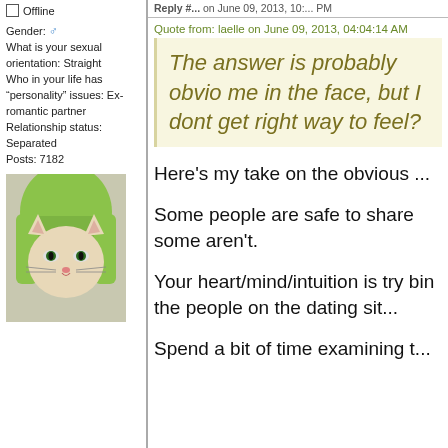Reply #... on June 09, 2013, 10:... PM
Offline
Gender: male
What is your sexual orientation: Straight
Who in your life has "personality" issues: Ex-romantic partner
Relationship status: Separated
Posts: 7182
[Figure (photo): Cat wearing a green wig avatar]
Quote from: laelle on June 09, 2013, 04:04:14 AM
The answer is probably obvious to me in the face, but I dont get the right way to feel?
Here's my take on the obvious ...
Some people are safe to share with, some aren't.
Your heart/mind/intuition is trying to bin the people on the dating sit...
Spend a bit of time examining t...